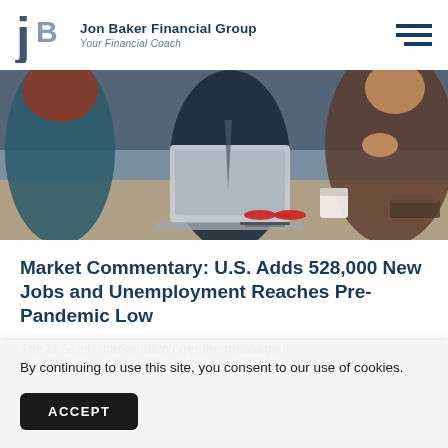Jon Baker Financial Group — Your Financial Coach
[Figure (photo): Business meeting scene: people around a table with a laptop, coffee cup, glasses, and books. Office/meeting setting.]
Market Commentary: U.S. Adds 528,000 New Jobs and Unemployment Reaches Pre-Pandemic Low
The U.S. job market didn't get the message it
By continuing to use this site, you consent to our use of cookies.
ACCEPT